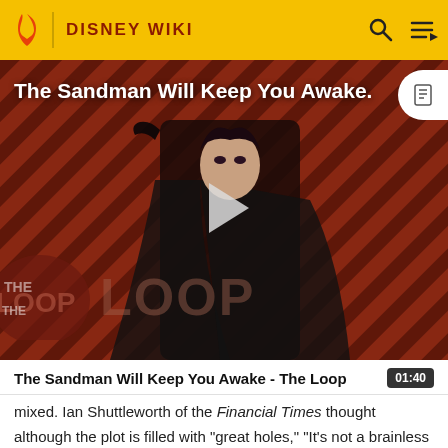DISNEY WIKI
[Figure (screenshot): Video thumbnail showing a dark figure in a black cape against a red diagonal striped background with 'THE LOOP' watermark and a white play button overlay. Title text 'The Sandman Will Keep You Awake.' appears at the top.]
The Sandman Will Keep You Awake - The Loop
mixed. Ian Shuttleworth of the Financial Times thought although the plot is filled with "great holes," "It's not a brainless show; Glenn Slater's lyrics are often enjoyably